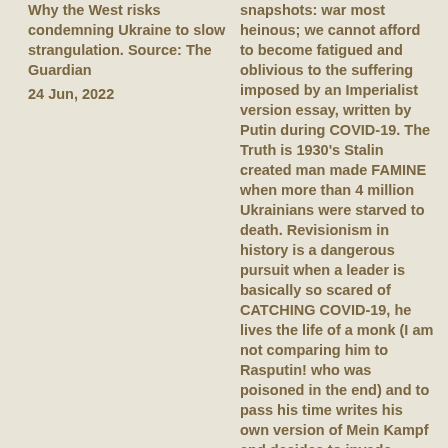Why the West risks condemning Ukraine to slow strangulation. Source: The Guardian
24 Jun, 2022
snapshots: war most heinous; we cannot afford to become fatigued and oblivious to the suffering imposed by an Imperialist version essay, written by Putin during COVID-19. The Truth is 1930's Stalin created man made FAMINE when more than 4 million Ukrainians were starved to death. Revisionism in history is a dangerous pursuit when a leader is basically so scared of CATCHING COVID-19, he lives the life of a monk (I am not comparing him to Rasputin! who was poisoned in the end) and to pass his time writes his own version of Mein Kampf and decides to invade Ukraine.
8 Aug, 2022